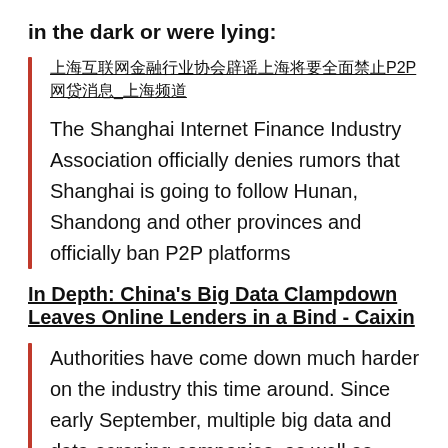in the dark or were lying:
上海互联网金融行业协会辟谣上海将要全面禁止P2P网贷消息_上海频道
The Shanghai Internet Finance Industry Association officially denies rumors that Shanghai is going to follow Hunan, Shandong and other provinces and officially ban P2P platforms
In Depth: China's Big Data Clampdown Leaves Online Lenders in a Bind - Caixin
Authorities have come down much harder on the industry this time around. Since early September, multiple big data and data-scraping companies, as well as online lenders, in Beijing, Shanghai, Shenzhen and Hangzhou have come under investigation, with even company executives and